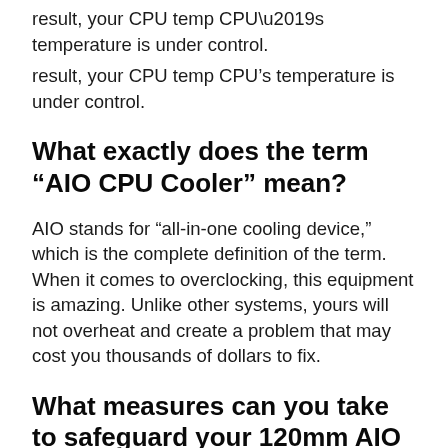result, your CPU temp CPU’s temperature is under control.
What exactly does the term “AIO CPU Cooler” mean?
AIO stands for “all-in-one cooling device,” which is the complete definition of the term. When it comes to overclocking, this equipment is amazing. Unlike other systems, yours will not overheat and create a problem that may cost you thousands of dollars to fix.
What measures can you take to safeguard your 120mm AIO cooler?